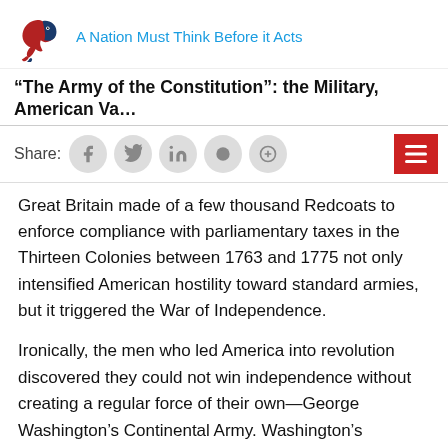A Nation Must Think Before it Acts
“The Army of the Constitution”: the Military, American Va…
Share:
Great Britain made of a few thousand Redcoats to enforce compliance with parliamentary taxes in the Thirteen Colonies between 1763 and 1775 not only intensified American hostility toward standard armies, but it triggered the War of Independence.
Ironically, the men who led America into revolution discovered they could not win independence without creating a regular force of their own—George Washington’s Continental Army. Washington’s Continentals were not the middle-class “embattled farmers” of cherished myth—at least not after the war’s first year or two. The rank and file consisted largely of vagrants, loafers, the unemployed, indentured servants, debtors, free blacks, slaves, enemy